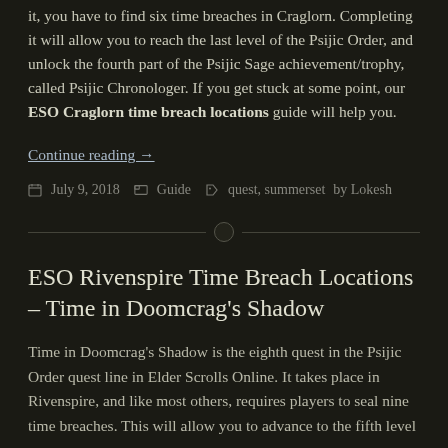it, you have to find six time breaches in Craglorn. Completing it will allow you to reach the last level of the Psijic Order, and unlock the fourth part of the Psijic Sage achievement/trophy, called Psijic Chronologer. If you get stuck at some point, our ESO Craglorn time breach locations guide will help you.
Continue reading →
July 9, 2018  Guide  quest, summerset by Lokesh
ESO Rivenspire Time Breach Locations – Time in Doomcrag's Shadow
Time in Doomcrag's Shadow is the eighth quest in the Psijic Order quest line in Elder Scrolls Online. It takes place in Rivenspire, and like most others, requires players to seal nine time breaches. This will allow you to advance to the fifth level